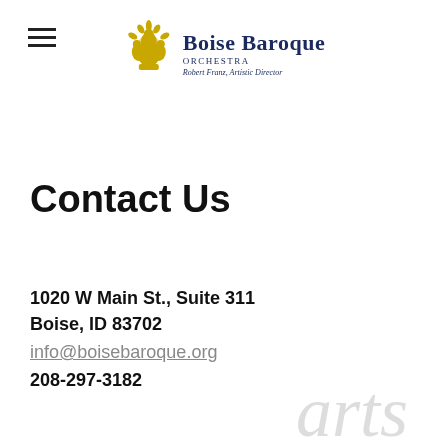Boise Baroque Orchestra — Robert Franz, Artistic Director
Contact Us
1020 W Main St., Suite 311
Boise, ID 83702
info@boisebaroque.org
208-297-3182